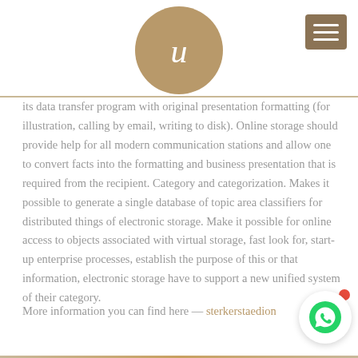[Figure (logo): Circular gold logo with stylized letter 'U' in script font on gold/tan background]
[Figure (other): Brown/tan hamburger menu icon with three horizontal white lines]
its data transfer program with original presentation formatting (for illustration, calling by email, writing to disk). Online storage should provide help for all modern communication stations and allow one to convert facts into the formatting and business presentation that is required from the recipient. Category and categorization. Makes it possible to generate a single database of topic area classifiers for distributed things of electronic storage. Make it possible for online access to objects associated with virtual storage, fast look for, start-up enterprise processes, establish the purpose of this or that information, electronic storage have to support a new unified system of their category.
More information you can find here — sterkerstaedion